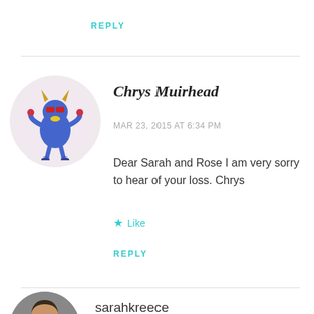REPLY
[Figure (illustration): Circular avatar with cartoon monster character: blue creature with horns, red glasses, yellow beak, holding items, on light pink background]
Chrys Muirhead
MAR 23, 2015 AT 6:34 PM
Dear Sarah and Rose I am very sorry to hear of your loss. Chrys
★ Like
REPLY
[Figure (photo): Circular avatar photo of a woman with dark hair]
sarahkreece